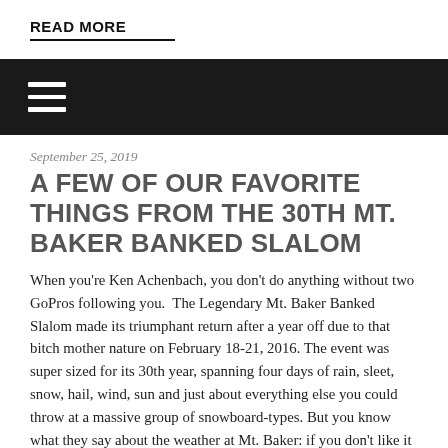READ MORE
[Figure (screenshot): Dark navigation bar with white hamburger menu icon (three horizontal lines)]
September 25, 2019
A FEW OF OUR FAVORITE THINGS FROM THE 30TH MT. BAKER BANKED SLALOM
When you're Ken Achenbach, you don't do anything without two GoPros following you.  The Legendary Mt. Baker Banked Slalom made its triumphant return after a year off due to that bitch mother nature on February 18-21, 2016. The event was super sized for its 30th year, spanning four days of rain, sleet, snow, hail, wind, sun and just about everything else you could throw at a massive group of snowboard-types. But you know what they say about the weather at Mt. Baker: if you don't like it – leave. And it's hard to complain after a day like Saturday when competitors awoke to the requisite 8 inches of new snow and...